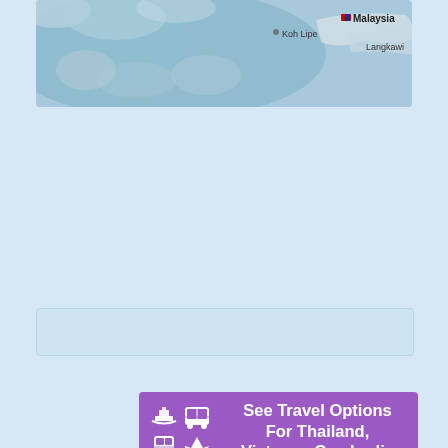[Figure (map): Map showing Koh Lipe, Malaysia, and Langkawi locations on a blue-toned geographical map]
[Figure (infographic): Purple banner with transport icons (boat, bus, train, plane) and text: See Travel Options For Thailand, Vietnam, Cambodia]
Krabi Airport
Bangkok